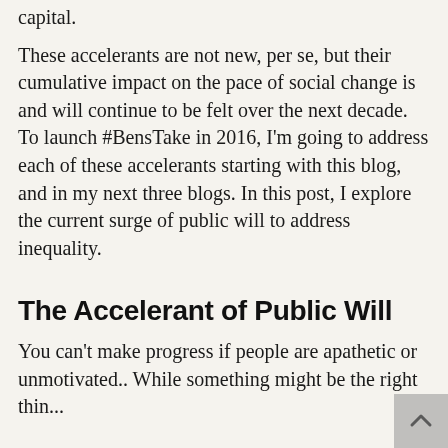capital.
These accelerants are not new, per se, but their cumulative impact on the pace of social change is and will continue to be felt over the next decade. To launch #BensTake in 2016, I'm going to address each of these accelerants starting with this blog, and in my next three blogs. In this post, I explore the current surge of public will to address inequality.
The Accelerant of Public Will
You can't make progress if people are apathetic or unmotivated.. While something might be the right thing to do, without broad public will it...